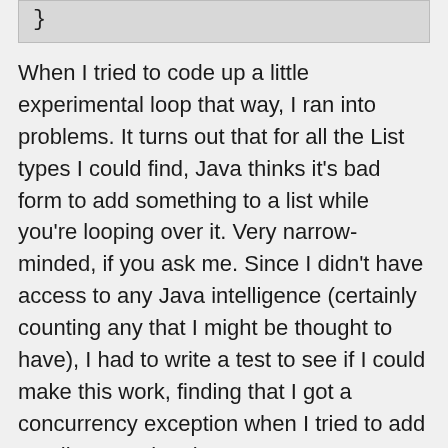[Figure (screenshot): Code snippet showing closing brace '}']
When I tried to code up a little experimental loop that way, I ran into problems. It turns out that for all the List types I could find, Java thinks it's bad form to add something to a list while you're looping over it. Very narrow-minded, if you ask me. Since I didn't have access to any Java intelligence (certainly counting any that I might be thought to have), I had to write a test to see if I could make this work, finding that I got a concurrency exception when I tried to add to a list I was looping on. Bummer.